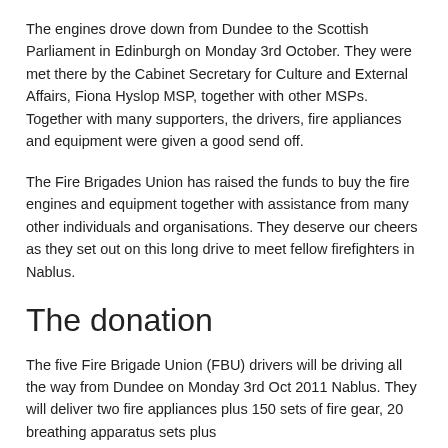The engines drove down from Dundee to the Scottish Parliament in Edinburgh on Monday 3rd October. They were met there by the Cabinet Secretary for Culture and External Affairs, Fiona Hyslop MSP, together with other MSPs. Together with many supporters, the drivers, fire appliances and equipment were given a good send off.
The Fire Brigades Union has raised the funds to buy the fire engines and equipment together with assistance from many other individuals and organisations. They deserve our cheers as they set out on this long drive to meet fellow firefighters in Nablus.
The donation
The five Fire Brigade Union (FBU) drivers will be driving all the way from Dundee on Monday 3rd Oct 2011 Nablus. They will deliver two fire appliances plus 150 sets of fire gear, 20 breathing apparatus sets plus